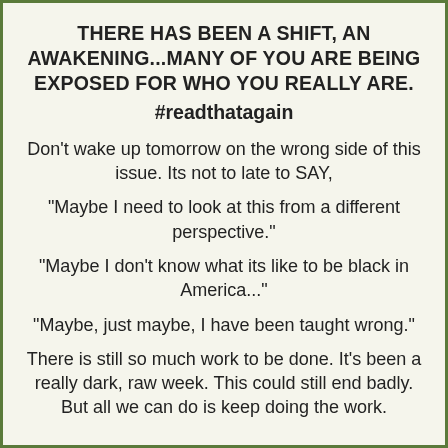THERE HAS BEEN A SHIFT, AN AWAKENING...MANY OF YOU ARE BEING EXPOSED FOR WHO YOU REALLY ARE. #readthatagain
Don't wake up tomorrow on the wrong side of this issue. Its not to late to SAY,
"Maybe I need to look at this from a different perspective."
"Maybe I don't know what its like to be black in America..."
"Maybe, just maybe, I have been taught wrong."
There is still so much work to be done. It's been a really dark, raw week. This could still end badly. But all we can do is keep doing the work.